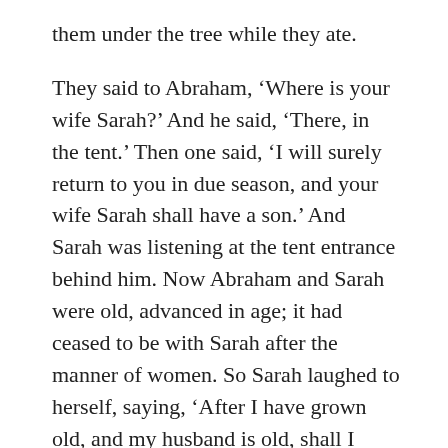them under the tree while they ate.
They said to Abraham, ‘Where is your wife Sarah?’ And he said, ‘There, in the tent.’ Then one said, ‘I will surely return to you in due season, and your wife Sarah shall have a son.’ And Sarah was listening at the tent entrance behind him. Now Abraham and Sarah were old, advanced in age; it had ceased to be with Sarah after the manner of women. So Sarah laughed to herself, saying, ‘After I have grown old, and my husband is old, shall I have pleasure?’